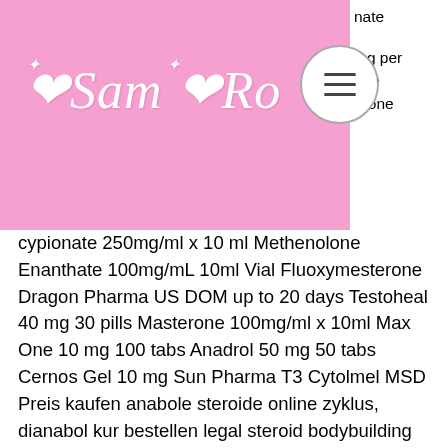Sam Pio [header logo with navigation menu button]
nate …mg per …one …erone cypionate 250mg/ml x 10 ml Methenolone Enanthate 100mg/mL 10ml Vial Fluoxymesterone Dragon Pharma US DOM up to 20 days Testoheal 40 mg 30 pills Masterone 100mg/ml x 10ml Max One 10 mg 100 tabs Anadrol 50 mg 50 tabs Cernos Gel 10 mg Sun Pharma T3 Cytolmel MSD Preis kaufen anabole steroide online zyklus, dianabol kur bestellen legal steroid bodybuilding supplements. Um der Nutzung mit Werbung zuzustimmen, muss JavaScript in Ihrem Browser aktiviert sein. Die zeitgleiche Anwendung von Kortisonsprays und bestimmten antiviralen Therapien z. Anabole steroide kaufen per nachnahme. Ich kann euch also nur raten: Lasst die Finger davon und bleibt bei der cleanen